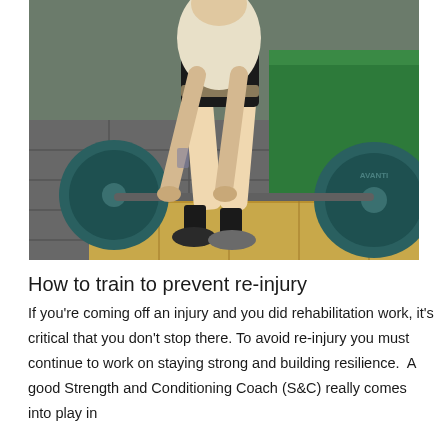[Figure (photo): A person in a gym performing a deadlift with a barbell loaded with large teal/green weight plates. The person is wearing a white shirt, dark shorts, and black socks with black and grey shoes. The gym has grey rubber flooring and a green turf area in the background. The platform is wooden.]
How to train to prevent re-injury
If you're coming off an injury and you did rehabilitation work, it's critical that you don't stop there. To avoid re-injury you must continue to work on staying strong and building resilience.  A good Strength and Conditioning Coach (S&C) really comes into play in